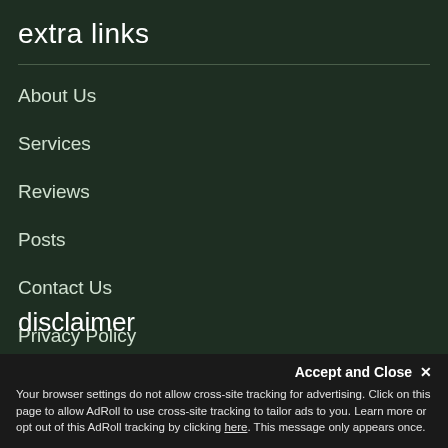extra links
About Us
Services
Reviews
Posts
Contact Us
Privacy Policy
disclaimer
Accept and Close ✕
Your browser settings do not allow cross-site tracking for advertising. Click on this page to allow AdRoll to use cross-site tracking to tailor ads to you. Learn more or opt out of this AdRoll tracking by clicking here. This message only appears once.